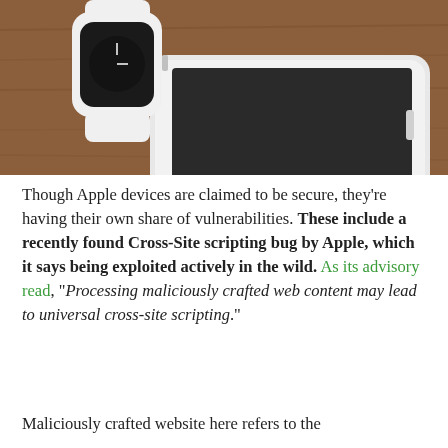[Figure (photo): An Apple Watch with white sport band resting on top of a white iPhone, both placed on a wooden surface]
Though Apple devices are claimed to be secure, they're having their own share of vulnerabilities. These include a recently found Cross-Site scripting bug by Apple, which it says being exploited actively in the wild. As its advisory read, "Processing maliciously crafted web content may lead to universal cross-site scripting."
Maliciously crafted website here refers to the